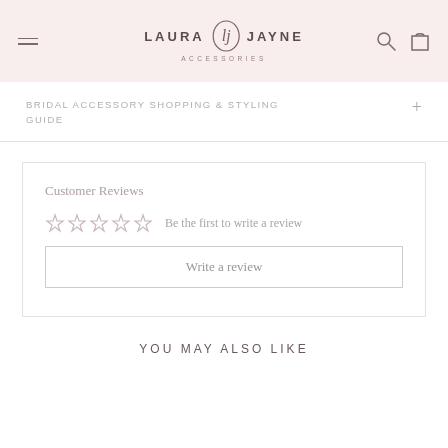LAURA JAYNE ACCESSORIES
BRIDAL ACCESSORY SHOPPING & STYLING GUIDE
Customer Reviews
Be the first to write a review
Write a review
YOU MAY ALSO LIKE